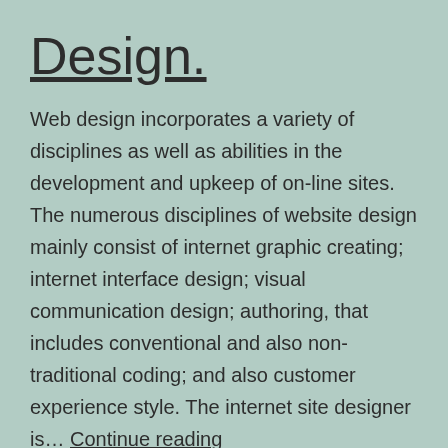Design.
Web design incorporates a variety of disciplines as well as abilities in the development and upkeep of on-line sites. The numerous disciplines of website design mainly consist of internet graphic creating; internet interface design; visual communication design; authoring, that includes conventional and also non-traditional coding; and also customer experience style. The internet site designer is… Continue reading